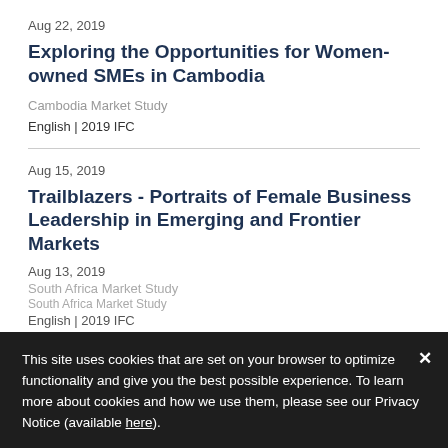Aug 22, 2019
Exploring the Opportunities for Women-owned SMEs in Cambodia
Cambodia Market Study
English | 2019 IFC
Aug 15, 2019
Trailblazers - Portraits of Female Business Leadership in Emerging and Frontier Markets
Aug 13, 2019
South Africa Market Study
South Africa Market Study
English | 2019 IFC
This site uses cookies that are set on your browser to optimize functionality and give you the best possible experience. To learn more about cookies and how we use them, please see our Privacy Notice (available here).